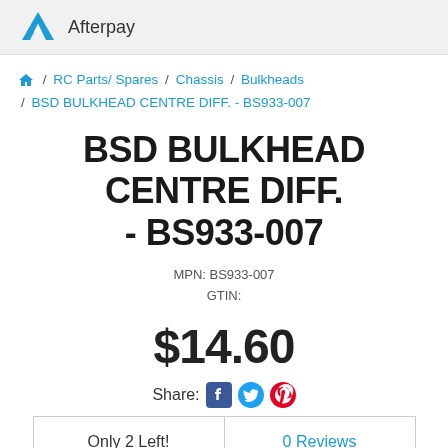[Figure (logo): Afterpay logo with text 'Afterpay']
/ RC Parts/ Spares / Chassis / Bulkheads / BSD BULKHEAD CENTRE DIFF. - BS933-007
BSD BULKHEAD CENTRE DIFF. - BS933-007
MPN: BS933-007
GTIN:
$14.60
Share:
Only 2 Left!
0 Reviews